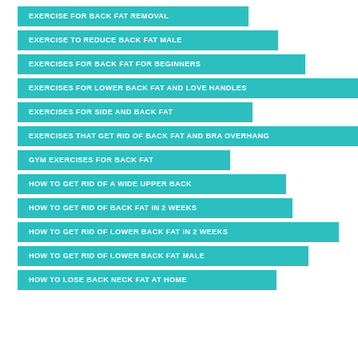EXERCISE FOR BACK FAT REMOVAL
EXERCISE TO REDUCE BACK FAT MALE
EXERCISES FOR BACK FAT FOR BEGINNERS
EXERCISES FOR LOWER BACK FAT AND LOVE HANDLES
EXERCISES FOR SIDE AND BACK FAT
EXERCISES THAT GET RID OF BACK FAT AND BRA OVERHANG
GYM EXERCISES FOR BACK FAT
HOW TO GET RID OF A WIDE UPPER BACK
HOW TO GET RID OF BACK FAT IN 2 WEEKS
HOW TO GET RID OF LOWER BACK FAT IN 2 WEEKS
HOW TO GET RID OF LOWER BACK FAT MALE
HOW TO LOSE BACK NECK FAT AT HOME